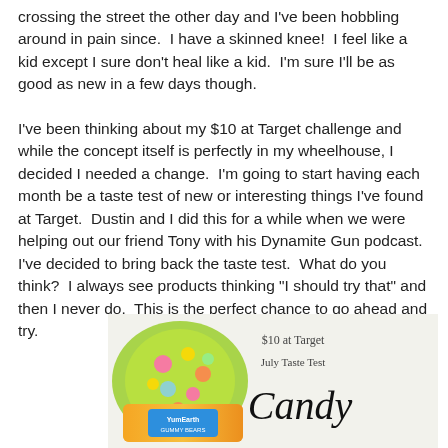crossing the street the other day and I've been hobbling around in pain since.  I have a skinned knee!  I feel like a kid except I sure don't heal like a kid.  I'm sure I'll be as good as new in a few days though.
I've been thinking about my $10 at Target challenge and while the concept itself is perfectly in my wheelhouse, I decided I needed a change.  I'm going to start having each month be a taste test of new or interesting things I've found at Target.  Dustin and I did this for a while when we were helping out our friend Tony with his Dynamite Gun podcast.  I've decided to bring back the taste test.  What do you think?  I always see products thinking "I should try that" and then I never do.  This is the perfect chance to go ahead and try.
[Figure (photo): Photo of colorful candy packages (Yum Earth gummy bears type candy) on left side, with handwritten-style text on right reading '$10 at Target July Taste Test Candy']